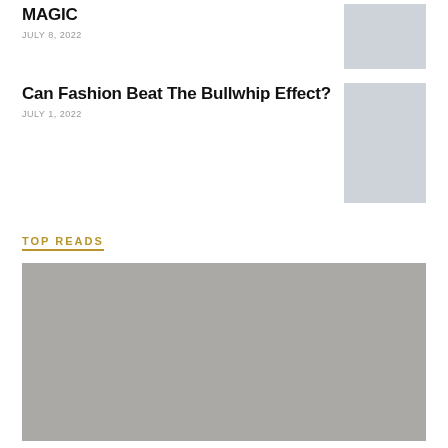MAGIC
JULY 8, 2022
[Figure (photo): Small light gray placeholder thumbnail image]
Can Fashion Beat The Bullwhip Effect?
JULY 1, 2022
[Figure (photo): Small light gray placeholder thumbnail image]
TOP READS
[Figure (photo): Large medium gray placeholder image]